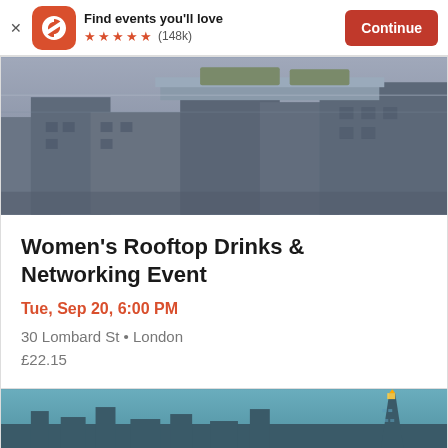[Figure (screenshot): Eventbrite app install banner with logo, 5-star rating (148k reviews), and Continue button]
[Figure (photo): Rooftop building architectural photo in blue-grey tones]
Women's Rooftop Drinks & Networking Event
Tue, Sep 20, 6:00 PM
30 Lombard St • London
£22.15
[Figure (photo): City skyline with illuminated building (The Shard) against a blue sky]